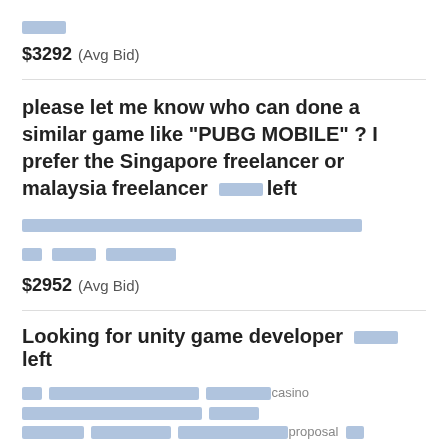[redacted tag]
$3292  (Avg Bid)
please let me know who can done a similar game like "PUBG MOBILE" ? I prefer the Singapore freelancer or malaysia freelancer  [redacted] left
[redacted description]
[redacted tags]
$2952  (Avg Bid)
Looking for unity game developer  [redacted] left
[redacted] casino [redacted] [redacted] [redacted] proposal [redacted]
C# [redacted]  iPhone  [redacted]  Unity 3D